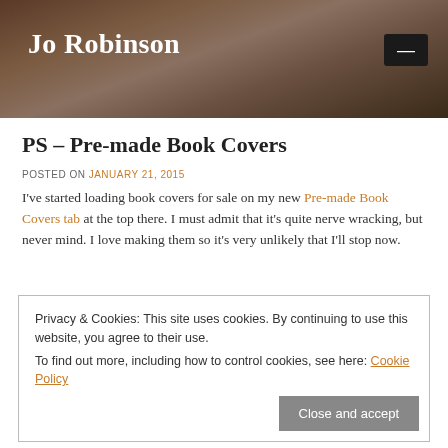Jo Robinson
PS – Pre-made Book Covers
POSTED ON JANUARY 21, 2015
I've started loading book covers for sale on my new Pre-made Book Covers tab at the top there. I must admit that it's quite nerve wracking, but never mind. I love making them so it's very unlikely that I'll stop now.
All of them are made with my own photos or sketches so far. I might
Privacy & Cookies: This site uses cookies. By continuing to use this website, you agree to their use.
To find out more, including how to control cookies, see here: Cookie Policy
Close and accept
any ideas for covers to make. I don't want them to be too generic, and I